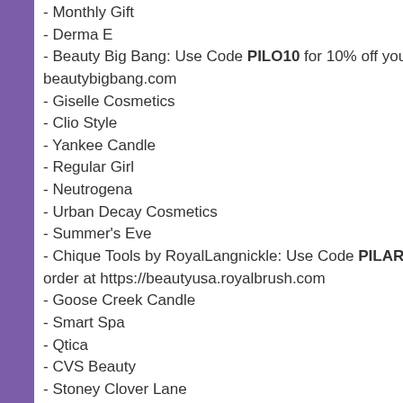- Monthly Gift
- Derma E
- Beauty Big Bang: Use Code PILO10 for 10% off your order at beautybigbang.com
- Giselle Cosmetics
- Clio Style
- Yankee Candle
- Regular Girl
- Neutrogena
- Urban Decay Cosmetics
- Summer's Eve
- Chique Tools by RoyalLangnickle: Use Code PILAR for 10% off your order at https://beautyusa.royalbrush.com
- Goose Creek Candle
- Smart Spa
- Qtica
- CVS Beauty
- Stoney Clover Lane
- Neostrata
- Drunk Elephant
- The Crème Shop
- Wunderkiss
- Bliss
- Oh K!
- Hask
- Lip Monthly
- GSQ by Glamsquad